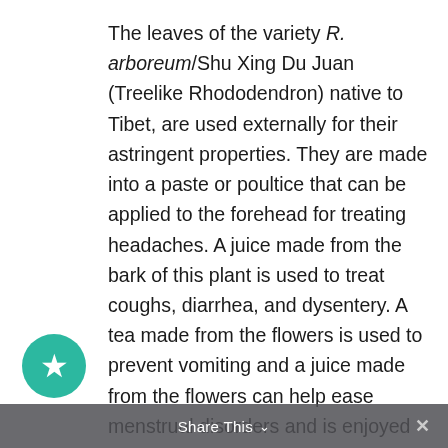The leaves of the variety R. arboreum/Shu Xing Du Juan (Treelike Rhododendron) native to Tibet, are used externally for their astringent properties. They are made into a paste or poultice that can be applied to the forehead for treating headaches. A juice made from the bark of this plant is used to treat coughs, diarrhea, and dysentery. A tea made from the flowers is used to prevent vomiting and a juice made from the flowers can help ease menstrual disorders and is enjoyed for its nutritional value and flavor. flowers are also dried and powdered for in foods and drinks. In Tibet, the tender spring leaves of this species are used as a
Share This ∨  ×